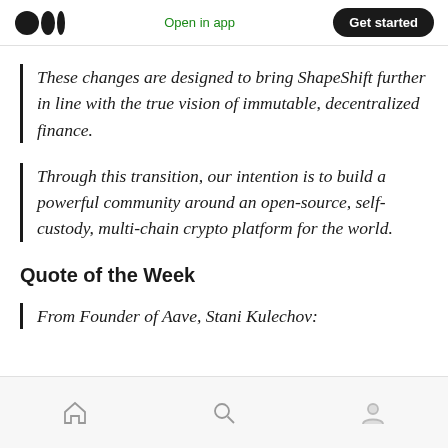Open in app | Get started
These changes are designed to bring ShapeShift further in line with the true vision of immutable, decentralized finance.
Through this transition, our intention is to build a powerful community around an open-source, self-custody, multi-chain crypto platform for the world.
Quote of the Week
From Founder of Aave, Stani Kulechov:
Home | Search | Profile